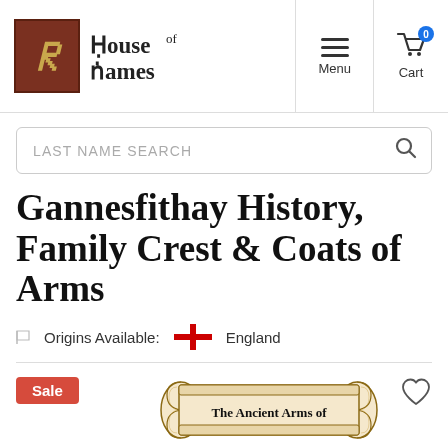House of Names — Menu | Cart
Gannesfithay History, Family Crest & Coats of Arms
Origins Available: England
[Figure (illustration): Scroll banner reading 'The Ancient Arms of' with decorative rolled ends]
Sale